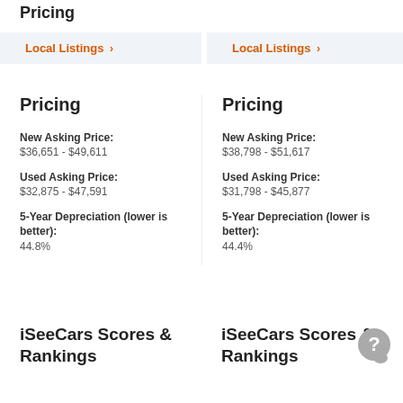Pricing
Local Listings >
Local Listings >
Pricing
New Asking Price:
$36,651 - $49,611
Used Asking Price:
$32,875 - $47,591
5-Year Depreciation (lower is better):
44.8%
Pricing
New Asking Price:
$38,798 - $51,617
Used Asking Price:
$31,798 - $45,877
5-Year Depreciation (lower is better):
44.4%
iSeeCars Scores & Rankings
iSeeCars Scores & Rankings